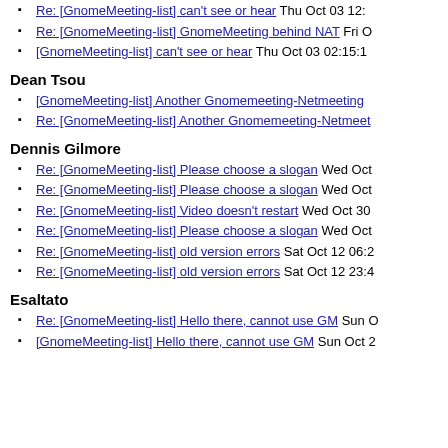Re: [GnomeMeeting-list] can't see or hear Thu Oct 03 12:...
Re: [GnomeMeeting-list] GnomeMeeting behind NAT Fri O...
[GnomeMeeting-list] can't see or hear Thu Oct 03 02:15:1...
Dean Tsou
[GnomeMeeting-list] Another Gnomemeeting-Netmeeting...
Re: [GnomeMeeting-list] Another Gnomemeeting-Netmeet...
Dennis Gilmore
Re: [GnomeMeeting-list] Please choose a slogan Wed Oct ...
Re: [GnomeMeeting-list] Please choose a slogan Wed Oct ...
Re: [GnomeMeeting-list] Video doesn't restart Wed Oct 30...
Re: [GnomeMeeting-list] Please choose a slogan Wed Oct ...
Re: [GnomeMeeting-list] old version errors Sat Oct 12 06:2...
Re: [GnomeMeeting-list] old version errors Sat Oct 12 23:4...
Esaltato
Re: [GnomeMeeting-list] Hello there, cannot use GM Sun O...
[GnomeMeeting-list] Hello there, cannot use GM Sun Oct 2...